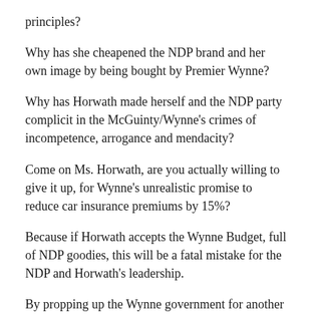principles?
Why has she cheapened the NDP brand and her own image by being bought by Premier Wynne?
Why has Horwath made herself and the NDP party complicit in the McGuinty/Wynne's crimes of incompetence, arrogance and mendacity?
Come on Ms. Horwath, are you actually willing to give it up, for Wynne's unrealistic promise to reduce car insurance premiums by 15%?
Because if Horwath accepts the Wynne Budget, full of NDP goodies, this will be a fatal mistake for the NDP and Horwath's leadership.
By propping up the Wynne government for another year, Horwath will whitewash all of the past political, financial and governmental sins of the